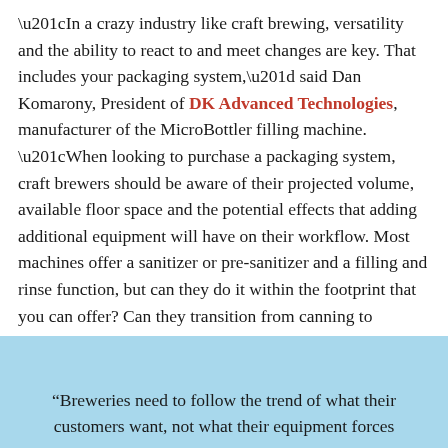“In a crazy industry like craft brewing, versatility and the ability to react to and meet changes are key. That includes your packaging system,” said Dan Komarony, President of DK Advanced Technologies, manufacturer of the MicroBottler filling machine. “When looking to purchase a packaging system, craft brewers should be aware of their projected volume, available floor space and the potential effects that adding additional equipment will have on their workflow. Most machines offer a sanitizer or pre-sanitizer and a filling and rinse function, but can they do it within the footprint that you can offer? Can they transition from canning to bottling across any product you offer without significant downtime during changeover?”
“Breweries need to follow the trend of what their customers want, not what their equipment forces